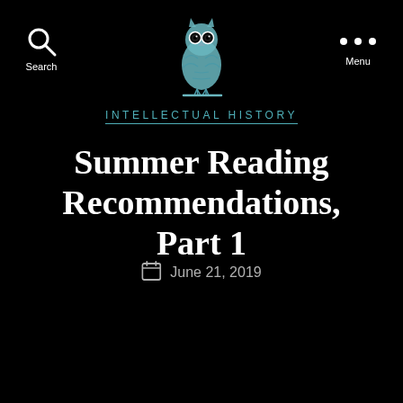Search | [Owl Logo] | Menu
INTELLECTUAL HISTORY
Summer Reading Recommendations, Part 1
June 21, 2019